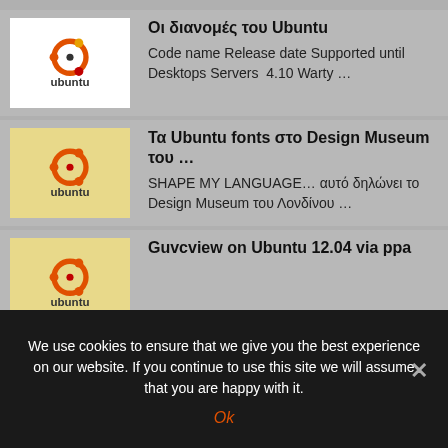Οι διανομές του Ubuntu — Code name Release date Supported until Desktops Servers  4.10 Warty …
Τα Ubuntu fonts στο Design Museum του … — SHAPE MY LANGUAGE… αυτό δηλώνει το Design Museum του Λονδίνου …
Guvcview on Ubuntu 12.04 via ppa
We use cookies to ensure that we give you the best experience on our website. If you continue to use this site we will assume that you are happy with it.
Ok